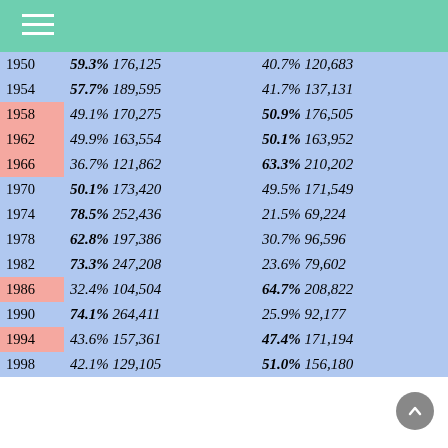| Year | Party A %  Votes | Party B %  Votes |
| --- | --- | --- |
| 1950 | 59.3% 176,125 | 40.7% 120,683 |
| 1954 | 57.7% 189,595 | 41.7% 137,131 |
| 1958 | 49.1% 170,275 | 50.9% 176,505 |
| 1962 | 49.9% 163,554 | 50.1% 163,952 |
| 1966 | 36.7% 121,862 | 63.3% 210,202 |
| 1970 | 50.1% 173,420 | 49.5% 171,549 |
| 1974 | 78.5% 252,436 | 21.5% 69,224 |
| 1978 | 62.8% 197,386 | 30.7% 96,596 |
| 1982 | 73.3% 247,208 | 23.6% 79,602 |
| 1986 | 32.4% 104,504 | 64.7% 208,822 |
| 1990 | 74.1% 264,411 | 25.9% 92,177 |
| 1994 | 43.6% 157,361 | 47.4% 171,194 |
| 1998 | 42.1% 129,105 | 51.0% 156,180 |